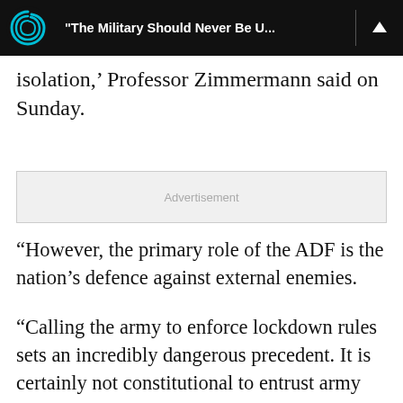“The Military Should Never Be U…
isolation,’ Professor Zimmermann said on Sunday.
[Figure (other): Advertisement placeholder box]
“However, the primary role of the ADF is the nation’s defence against external enemies.
“Calling the army to enforce lockdown rules sets an incredibly dangerous precedent. It is certainly not constitutional to entrust army personnel with ostentatious policing activities.